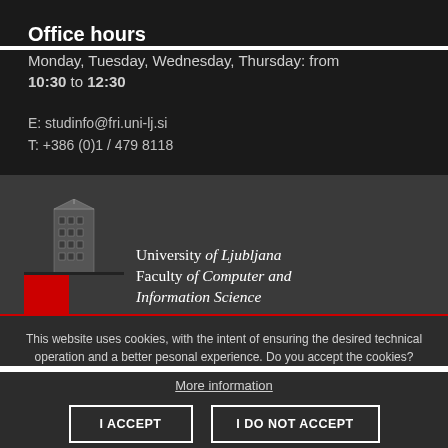Office hours
Monday, Tuesday, Wednesday, Thursday: from 10:30 to 12:30
E: studinfo@fri.uni-lj.si
T: +386 (0)1 / 479 8118
[Figure (logo): University of Ljubljana Faculty of Computer and Information Science logo with building illustration and red block]
This website uses cookies, with the intent of ensuring the desired technical operation and a better pesonal experience. Do you accept the cookies?
More information
I ACCEPT
I DO NOT ACCEPT